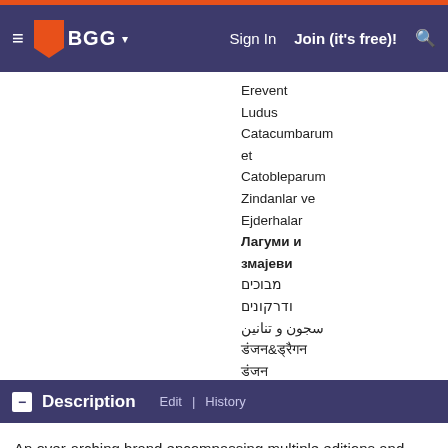BGG — Sign In | Join (it's free)!
Erevent
Ludus Catacumbarum et Catobleparum
Zindanlar ve Ejderhalar
Лагуми и змајеви
מבוכים ודרקונים
سجون و تنانين
डंजन&ड्रैगन
डंजन
던전 앤 드래곤
Description  Edit | History
An over-arching brand encompassing multiple editions and game systems, including half-editions and the early "advanced" and "basic" games, that have been called "Dungeons & Dragons".
Publisher blurb
The first Dungeons & Dragons game was played back when Gary...